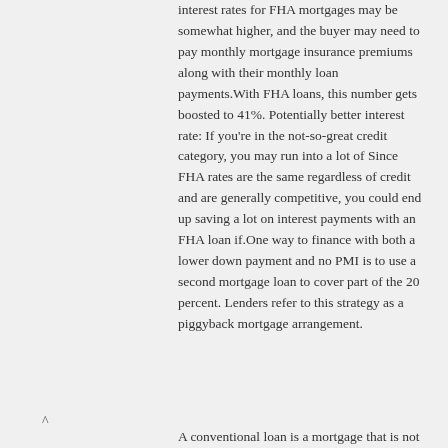interest rates for FHA mortgages may be somewhat higher, and the buyer may need to pay monthly mortgage insurance premiums along with their monthly loan payments.With FHA loans, this number gets boosted to 41%. Potentially better interest rate: If you're in the not-so-great credit category, you may run into a lot of Since FHA rates are the same regardless of credit and are generally competitive, you could end up saving a lot on interest payments with an FHA loan if.One way to finance with both a lower down payment and no PMI is to use a second mortgage loan to cover part of the 20 percent. Lenders refer to this strategy as a piggyback mortgage arrangement.
A conventional loan is a mortgage that is not